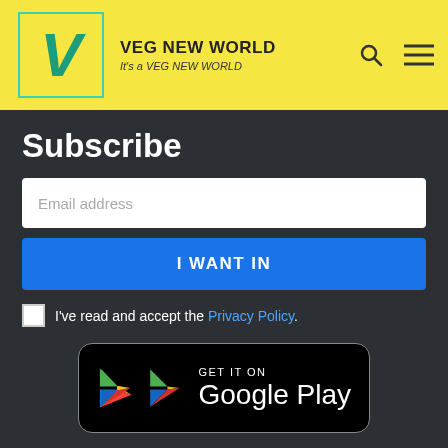VEG NEW WORLD — It's a VEG NEW WORLD
Subscribe
Email address
I WANT IN
I've read and accept the Privacy Policy.
[Figure (logo): GET IT ON Google Play badge with Google Play triangle logo in red, yellow, green, blue colors on black rounded-rectangle background]